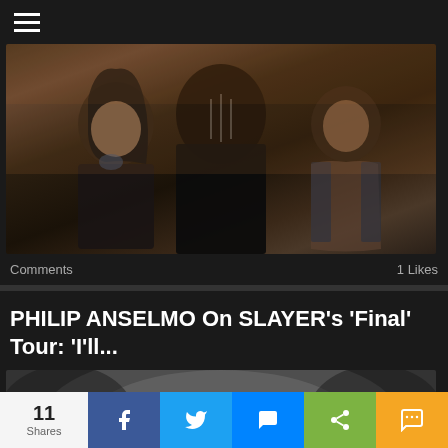☰
[Figure (photo): Three metal band members in dark clothing against a warm outdoor background. Left member has long dark hair and tattoos, center member faces away in dark jacket, right member is shirtless with muscular build.]
Comments   1 Likes
PHILIP ANSELMO On SLAYER's 'Final' Tour: 'I'll...
[Figure (photo): Black and white close-up portrait of Philip Anselmo's face, cropped to show eyes and forehead prominently.]